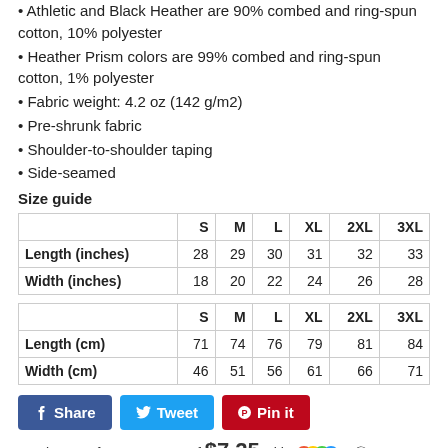Athletic and Black Heather are 90% combed and ring-spun cotton, 10% polyester
Heather Prism colors are 99% combed and ring-spun cotton, 1% polyester
Fabric weight: 4.2 oz (142 g/m2)
Pre-shrunk fabric
Shoulder-to-shoulder taping
Side-seamed
Size guide
|  | S | M | L | XL | 2XL | 3XL |
| --- | --- | --- | --- | --- | --- | --- |
| Length (inches) | 28 | 29 | 30 | 31 | 32 | 33 |
| Width (inches) | 18 | 20 | 22 | 24 | 26 | 28 |
|  | S | M | L | XL | 2XL | 3XL |
| --- | --- | --- | --- | --- | --- | --- |
| Length (cm) | 71 | 74 | 76 | 79 | 81 | 84 |
| Width (cm) | 46 | 51 | 56 | 61 | 66 | 71 |
[Figure (other): Social share buttons: Facebook Share, Twitter Tweet, Pinterest Pin it]
or 4 interest-free payments of $7.25 with Sezzle